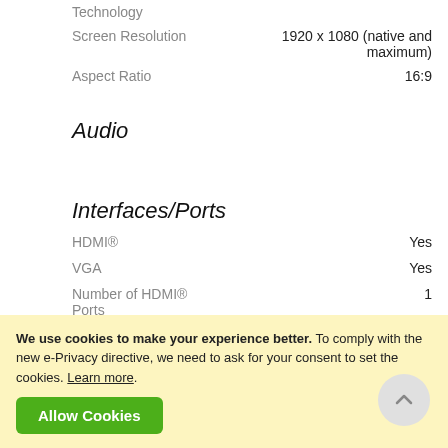Technology
| Screen Resolution | 1920 x 1080 (native and maximum) |
| Aspect Ratio | 16:9 |
Audio
Interfaces/Ports
| HDMI® | Yes |
| VGA | Yes |
| Number of HDMI® Ports | 1 |
We use cookies to make your experience better. To comply with the new e-Privacy directive, we need to ask for your consent to set the cookies. Learn more.
Allow Cookies